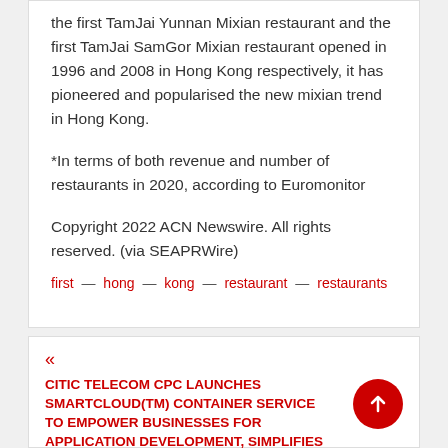the first TamJai Yunnan Mixian restaurant and the first TamJai SamGor Mixian restaurant opened in 1996 and 2008 in Hong Kong respectively, it has pioneered and popularised the new mixian trend in Hong Kong.
*In terms of both revenue and number of restaurants in 2020, according to Euromonitor
Copyright 2022 ACN Newswire. All rights reserved. (via SEAPRWire)
first — hong — kong — restaurant — restaurants
« CITIC TELECOM CPC LAUNCHES SMARTCLOUD(TM) CONTAINER SERVICE TO EMPOWER BUSINESSES FOR APPLICATION DEVELOPMENT, SIMPLIFIES AND STREAMLINES